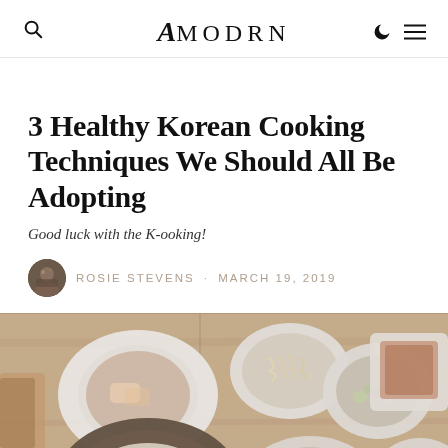amodrn
3 Healthy Korean Cooking Techniques We Should All Be Adopting
Good luck with the K-ooking!
Rosie Stevens · March 19, 2019
[Figure (photo): Overhead view of a Korean meal spread on a wooden table with multiple white bowls and plates containing various Korean dishes including soups, noodles, stews, and side dishes. A dark bowl with bibimbap topped with a yellow egg yolk is visible at the bottom.]